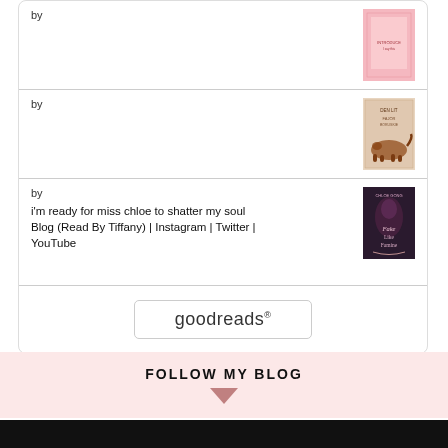by
[Figure (illustration): Pink book cover with text on it]
by
[Figure (illustration): Book cover with animal illustration, possibly a panther]
by
[Figure (illustration): Dark book cover with decorative text - Chloe Gong]
i'm ready for miss chloe to shatter my soul
Blog (Read By Tiffany) | Instagram | Twitter | YouTube
[Figure (logo): goodreads button/logo]
FOLLOW MY BLOG